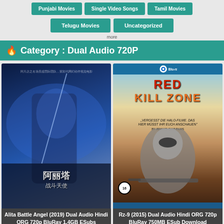Punjabi Movies | Single Video Songs | Tamil Movies
Telugu Movies
Uncategorized
Category : Dual Audio 720P
[Figure (photo): Movie poster for Alita Battle Angel (2019) showing a sci-fi female warrior with Chinese text]
Alita Battle Angel (2019) Dual Audio Hindi ORG 720p BluRay 1.4GB ESubs Download
[Figure (photo): Movie poster for Rz-9 (2015) / Red Kill Zone showing armored soldier with Blu-ray case design]
Rz-9 (2015) Dual Audio Hindi ORG 720p BluRay 750MB ESub Download